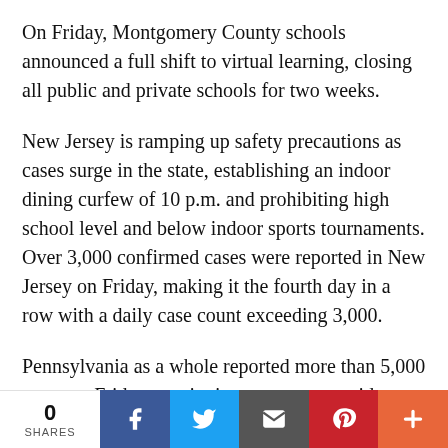On Friday, Montgomery County schools announced a full shift to virtual learning, closing all public and private schools for two weeks.
New Jersey is ramping up safety precautions as cases surge in the state, establishing an indoor dining curfew of 10 p.m. and prohibiting high school level and below indoor sports tournaments. Over 3,000 confirmed cases were reported in New Jersey on Friday, making it the fourth day in a row with a daily case count exceeding 3,000.
Pennsylvania as a whole reported more than 5,000 cases on Friday, continuing a surge statewide. Yesterday, the commonwealth reported 5,488 cases.
Ahead of new safety restrictions enacted by the city,
[Figure (infographic): Social share bar with 0 SHARES count, and buttons for Facebook, Twitter, Email, Pinterest, and More (+)]